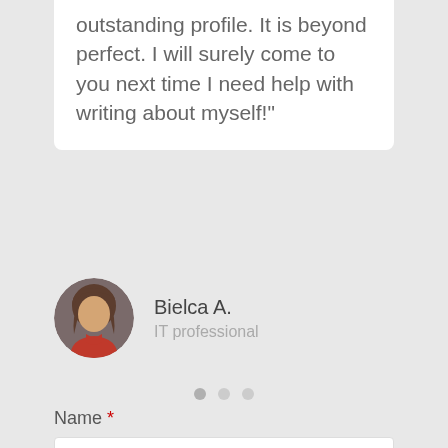outstanding profile. It is beyond perfect. I will surely come to you next time I need help with writing about myself!"
[Figure (illustration): Circular avatar illustration of a woman with brown hair wearing a red top, on a dark gray background]
Bielca A.
IT professional
[Figure (other): Three horizontal dots used as a carousel/pagination indicator]
Name *